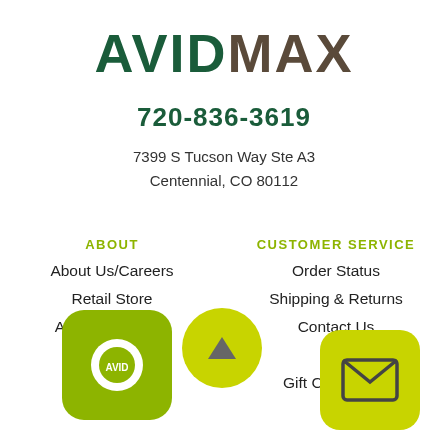AVIDMAX
720-836-3619
7399 S Tucson Way Ste A3
Centennial, CO 80112
ABOUT
About Us/Careers
Retail Store
Affiliate Program
Sustainability
CUSTOMER SERVICE
Order Status
Shipping & Returns
Contact Us
FAQ
Gift Certificates
[Figure (logo): AvidMax retailer app/contact badge icons overlaid at bottom of page]